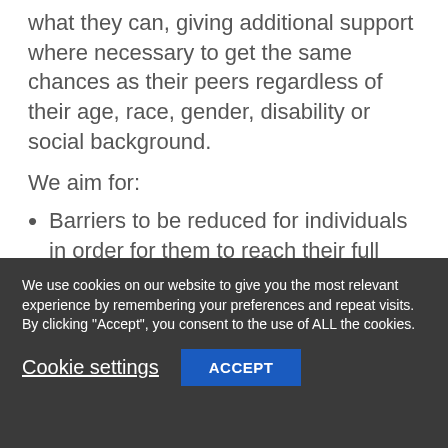what they can, giving additional support where necessary to get the same chances as their peers regardless of their age, race, gender, disability or social background.
We aim for:
Barriers to be reduced for individuals in order for them to reach their full potential
Individual pupils' needs to drive and shape the curriculum
Pupils to be engaged and motivated t…
We use cookies on our website to give you the most relevant experience by remembering your preferences and repeat visits. By clicking "Accept", you consent to the use of ALL the cookies.
Cookie settings
ACCEPT